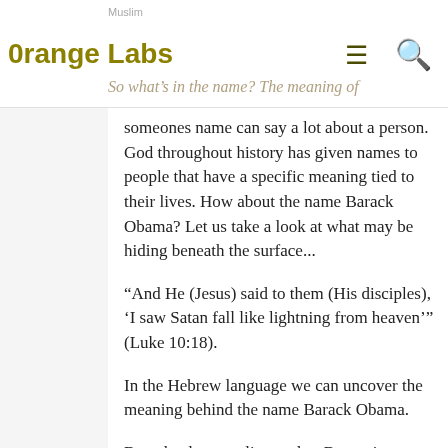Muslim
0range Labs
So what's in the name? The meaning of
someones name can say a lot about a person. God throughout history has given names to people that have a specific meaning tied to their lives. How about the name Barack Obama? Let us take a look at what may be hiding beneath the surface...
“And He (Jesus) said to them (His disciples), ‘I saw Satan fall like lightning from heaven’” (Luke 10:18).
In the Hebrew language we can uncover the meaning behind the name Barack Obama.
Barack, also transliterated as Baraq, in